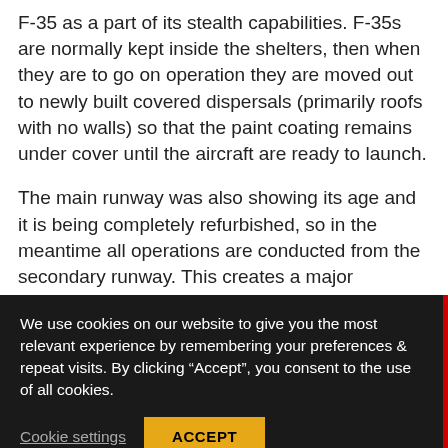F-35 as a part of its stealth capabilities. F-35s are normally kept inside the shelters, then when they are to go on operation they are moved out to newly built covered dispersals (primarily roofs with no walls) so that the paint coating remains under cover until the aircraft are ready to launch.
The main runway was also showing its age and it is being completely refurbished, so in the meantime all operations are conducted from the secondary runway. This creates a major concern, due to the risk of foreign object damage (FOD) to
We use cookies on our website to give you the most relevant experience by remembering your preferences & repeat visits. By clicking “Accept”, you consent to the use of all cookies.
Cookie settings
ACCEPT